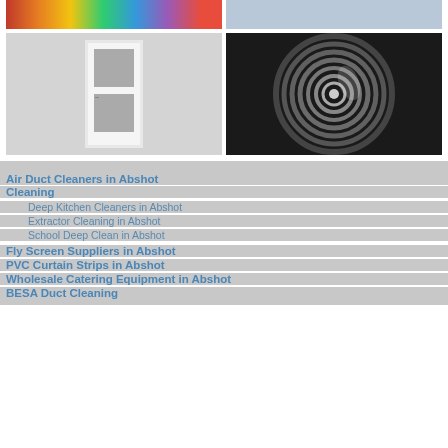[Figure (photo): Top row: two photos side by side — left shows colorful textiles/fabrics, right shows a building exterior with windows]
[Figure (photo): Second row: left shows a white storm/screen door with gray glass panels; right shows a spiral metal air duct viewed from inside]
Air Duct Cleaners in Abshot
Cleaning
Deep Kitchen Cleaners in Abshot
Extractor Cleaning in Abshot
School Deep Clean in Abshot
Fly Screen Suppliers in Abshot
PVC Curtain Strips in Abshot
Wholesale Catering Equipment in Abshot
BESA Duct Cleaning